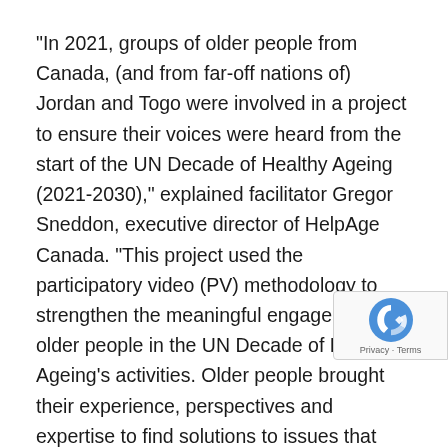“In 2021, groups of older people from Canada, (and from far-off nations of) Jordan and Togo were involved in a project to ensure their voices were heard from the start of the UN Decade of Healthy Ageing (2021-2030),” explained facilitator Gregor Sneddon, executive director of HelpAge Canada. “This project used the participatory video (PV) methodology to strengthen the meaningful engagement of older people in the UN Decade of Healthy Ageing’s activities. Older people brought their experience, perspectives and expertise to find solutions to issues that matter to them.”
Mr. Sneddon went on to explain that HelpAge Canada convened a group of elders from Manitoulin Island, who addressed the issues facing them in a film they made themselves. “They came up with 37 recommendations ageing that cover issues such as safe, adequate hous the preservation of the earth and tradition and how live in